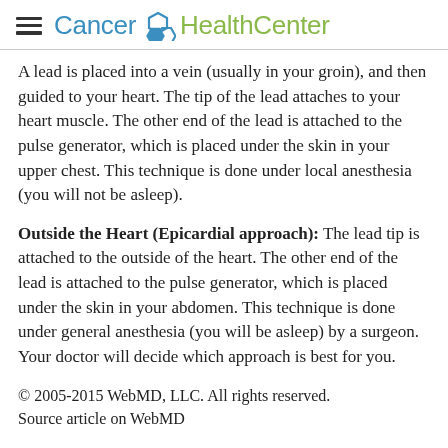Cancer HealthCenter
A lead is placed into a vein (usually in your groin), and then guided to your heart. The tip of the lead attaches to your heart muscle. The other end of the lead is attached to the pulse generator, which is placed under the skin in your upper chest. This technique is done under local anesthesia (you will not be asleep).
Outside the Heart (Epicardial approach): The lead tip is attached to the outside of the heart. The other end of the lead is attached to the pulse generator, which is placed under the skin in your abdomen. This technique is done under general anesthesia (you will be asleep) by a surgeon.
Your doctor will decide which approach is best for you.
© 2005-2015 WebMD, LLC. All rights reserved.
Source article on WebMD